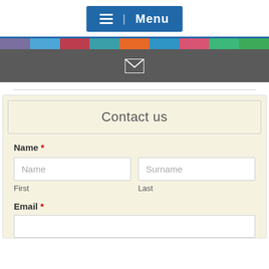Menu
[Figure (screenshot): Colorful horizontal navigation bar with multiple colored segments]
[Figure (screenshot): Dark gray bar with white envelope/mail icon]
Contact us
Name *
Name | Surname
First | Last
Email *